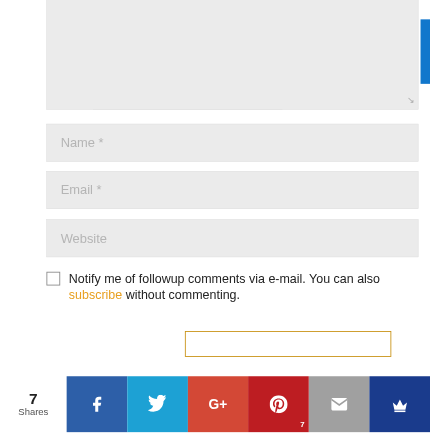[Figure (screenshot): Comment form with textarea (partially visible at top), Name field, Email field, Website field, checkbox with notification text, share buttons bar at bottom showing Facebook, Twitter, Google+, Pinterest, Email, and Crown icons with 7 Shares count.]
Name *
Email *
Website
Notify me of followup comments via e-mail. You can also subscribe without commenting.
7 Shares